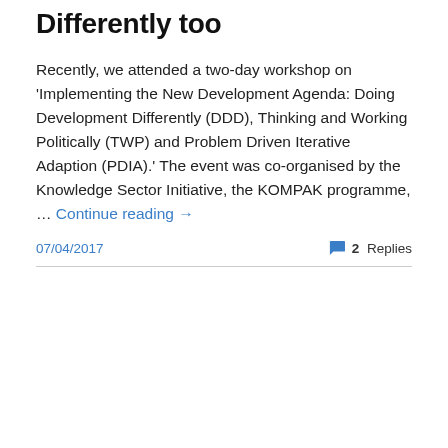Differently too
Recently, we attended a two-day workshop on 'Implementing the New Development Agenda: Doing Development Differently (DDD), Thinking and Working Politically (TWP) and Problem Driven Iterative Adaption (PDIA).' The event was co-organised by the Knowledge Sector Initiative, the KOMPAK programme, … Continue reading →
07/04/2017   2 Replies